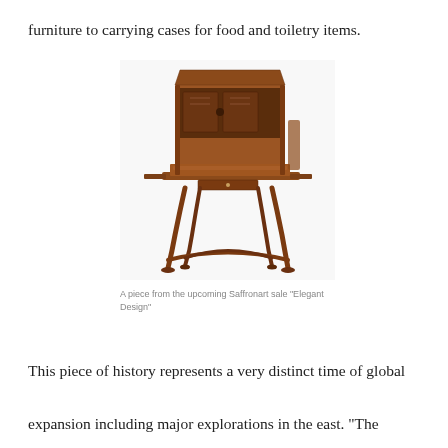furniture to carrying cases for food and toiletry items.
[Figure (photo): An antique wooden secretary desk with an open top compartment revealing storage sections, ornate curved legs with cross-bar support, and a fold-out writing surface. The piece is a brown mahogany-toned furniture item photographed against a white background.]
A piece from the upcoming Saffronart sale "Elegant Design"
This piece of history represents a very distinct time of global expansion including major explorations in the east. “The